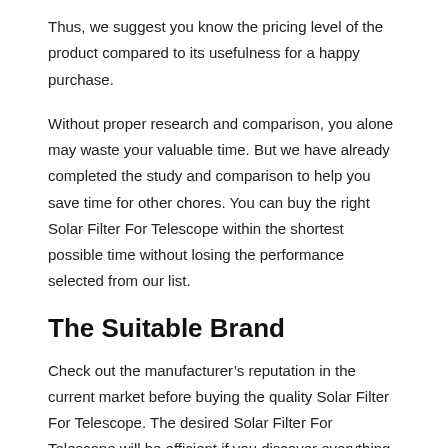Thus, we suggest you know the pricing level of the product compared to its usefulness for a happy purchase.
Without proper research and comparison, you alone may waste your valuable time. But we have already completed the study and comparison to help you save time for other chores. You can buy the right Solar Filter For Telescope within the shortest possible time without losing the performance selected from our list.
The Suitable Brand
Check out the manufacturer’s reputation in the current market before buying the quality Solar Filter For Telescope. The desired Solar Filter For Telescope will be efficient if you discover everything trustworthy and user-friendly. So, you can compare brands and read user reviews of the product for clarification. In this way, you may also learn the during and after-sales services.